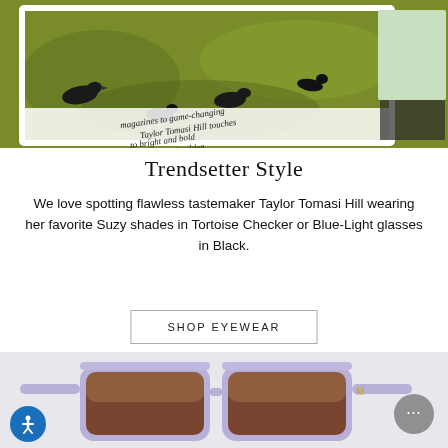[Figure (photo): Magazine spread showing black crow/raven sculptures on green grass, with partial italic text visible reading 'magazines to game-changing Taylor Tomasi Hill touches to bright and bold witty and golden']
Trendsetter Style
We love spotting flawless tastemaker Taylor Tomasi Hill wearing her favorite Suzy shades in Tortoise Checker or Blue-Light glasses in Black.
SHOP EYEWEAR
[Figure (photo): Large lavender/purple oversized square sunglasses with brown gradient lenses and a gold 'M' logo on the temple, displayed on a light grey background]